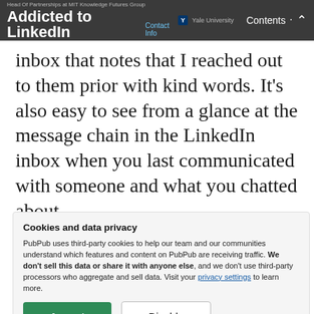Addicted to LinkedIn — Head Of Partnerships at MIT Knowledge Futures Group | Yale University | Contact Info | Contents
inbox that notes that I reached out to them prior with kind words. It's also easy to see from a glance at the message chain in the LinkedIn inbox when you last communicated with someone and what you chatted about.
How can I find you in a crowd?
Cookies and data privacy
PubPub uses third-party cookies to help our team and our communities understand which features and content on PubPub are receiving traffic. We don't sell this data or share it with anyone else, and we don't use third-party processors who aggregate and sell data. Visit your privacy settings to learn more.